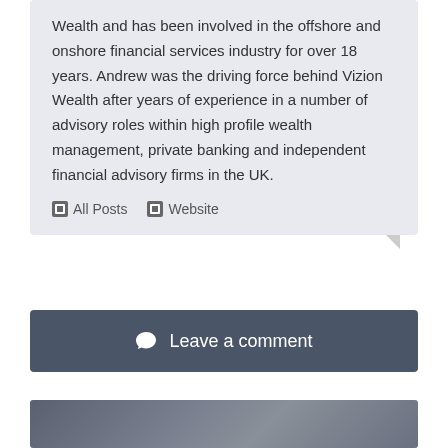Wealth and has been involved in the offshore and onshore financial services industry for over 18 years. Andrew was the driving force behind Vizion Wealth after years of experience in a number of advisory roles within high profile wealth management, private banking and independent financial advisory firms in the UK.
All Posts   Website
Leave a comment
[Figure (photo): Partial photo of two people visible at the bottom of the page, dark blue-grey toned image]